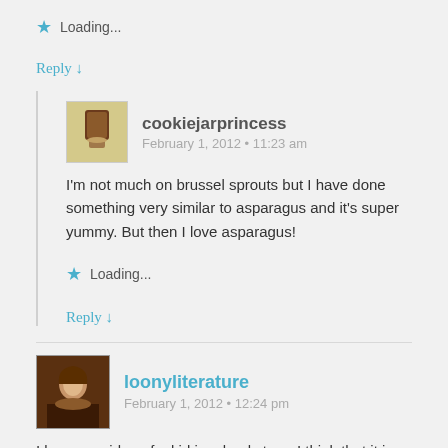★ Loading...
Reply ↓
cookiejarprincess
February 1, 2012 • 11:23 am
I'm not much on brussel sprouts but I have done something very similar to asparagus and it's super yummy. But then I love asparagus!
★ Loading...
Reply ↓
loonyliterature
February 1, 2012 • 12:24 pm
I love your idea of a kid in a bookstore. I think that it is